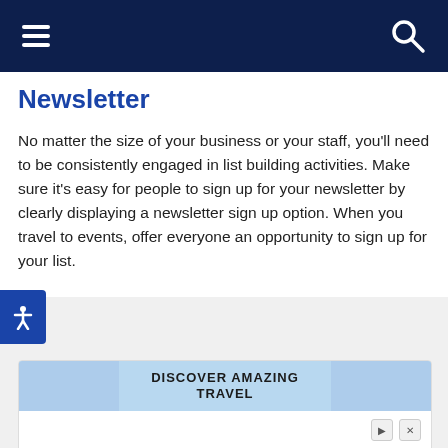Navigation bar with hamburger menu and search icon
Newsletter
No matter the size of your business or your staff, you’ll need to be consistently engaged in list building activities. Make sure it’s easy for people to sign up for your newsletter by clearly displaying a newsletter sign up option. When you travel to events, offer everyone an opportunity to sign up for your list.
[Figure (infographic): Advertisement banner: DISCOVER AMAZING TRAVEL header with blue winter landscape images, then an ad for 'Reserve Your Seat Today' from Brightline with Open button]